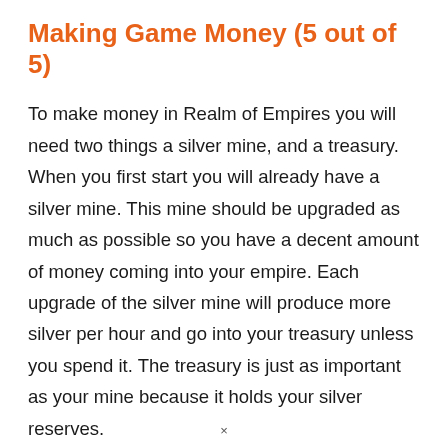Making Game Money (5 out of 5)
To make money in Realm of Empires you will need two things a silver mine, and a treasury. When you first start you will already have a silver mine. This mine should be upgraded as much as possible so you have a decent amount of money coming into your empire. Each upgrade of the silver mine will produce more silver per hour and go into your treasury unless you spend it. The treasury is just as important as your mine because it holds your silver reserves.
×